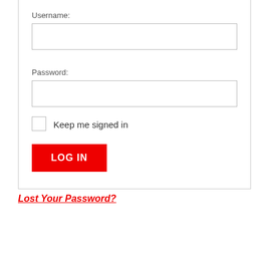Username:
[Figure (screenshot): Username text input field (empty)]
Password:
[Figure (screenshot): Password text input field (empty)]
Keep me signed in
[Figure (screenshot): LOG IN red button]
Lost Your Password?